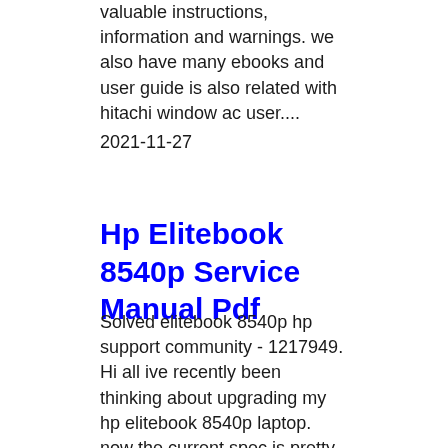valuable instructions, information and warnings. we also have many ebooks and user guide is also related with hitachi window ac user.... 2021-11-27
Hp Elitebook 8540p Service Manual Pdf
Solved elitebook 8540p hp support community - 1217949. Hi all ive recently been thinking about upgrading my hp elitebook 8540p laptop. now the current spec is pretty decent but the gpu is letting it down big time: i7 3ghz